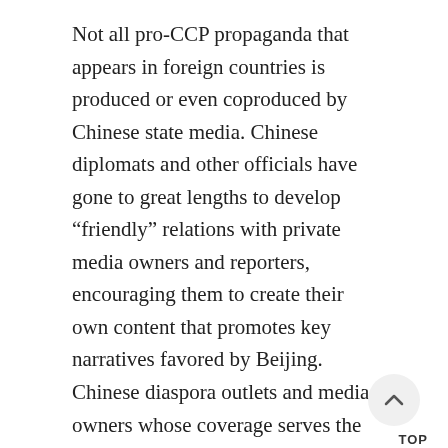Not all pro-CCP propaganda that appears in foreign countries is produced or even coproduced by Chinese state media. Chinese diplomats and other officials have gone to great lengths to develop “friendly” relations with private media owners and reporters, encouraging them to create their own content that promotes key narratives favored by Beijing. Chinese diaspora outlets and media owners whose coverage serves the CCP’s interests are frequently rewarded with advertising, lucrative contracts for other enterprises, joint ventures, and even political appointments.
One of the starkest outcomes of this dynamic has been the participation of privately owned news outlets in publishing or airing coerced confessions by Chinese prisoners of conscience and other victims of state repression. An April 2018 report by the rights group